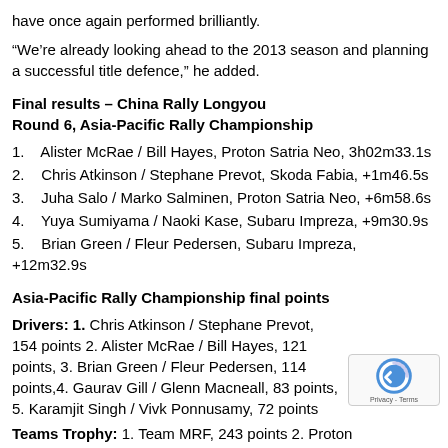have once again performed brilliantly.
“We’re already looking ahead to the 2013 season and planning a successful title defence,” he added.
Final results – China Rally Longyou Round 6, Asia-Pacific Rally Championship
1.    Alister McRae / Bill Hayes, Proton Satria Neo, 3h02m33.1s
2.    Chris Atkinson / Stephane Prevot, Skoda Fabia, +1m46.5s
3.    Juha Salo / Marko Salminen, Proton Satria Neo, +6m58.6s
4.    Yuya Sumiyama / Naoki Kase, Subaru Impreza, +9m30.9s
5.    Brian Green / Fleur Pedersen, Subaru Impreza, +12m32.9s
Asia-Pacific Rally Championship final points
Drivers: 1. Chris Atkinson / Stephane Prevot, 154 points 2. Alister McRae / Bill Hayes, 121 points, 3. Brian Green / Fleur Pedersen, 114 points,4. Gaurav Gill / Glenn Macneall, 83 points, 5. Karamjit Singh / Vivk Ponnusamy, 72 points
Teams Trophy: 1. Team MRF, 243 points 2. Proton Motorsports, 230 points 3. Proton R3 Group, 158 points